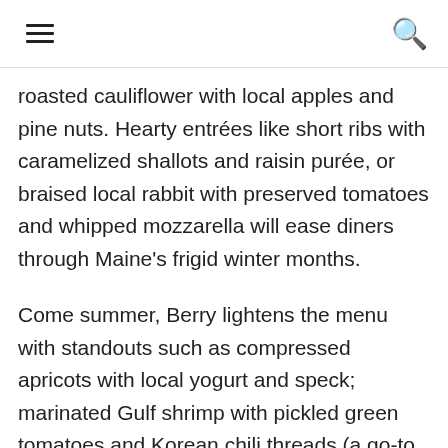≡ 🔍
roasted cauliflower with local apples and pine nuts. Hearty entrées like short ribs with caramelized shallots and raisin purée, or braised local rabbit with preserved tomatoes and whipped mozzarella will ease diners through Maine's frigid winter months.
Come summer, Berry lightens the menu with standouts such as compressed apricots with local yogurt and speck; marinated Gulf shrimp with pickled green tomatoes and Korean chili threads (a go-to garnish for the wow factor at your next dinner party) and chia oil;